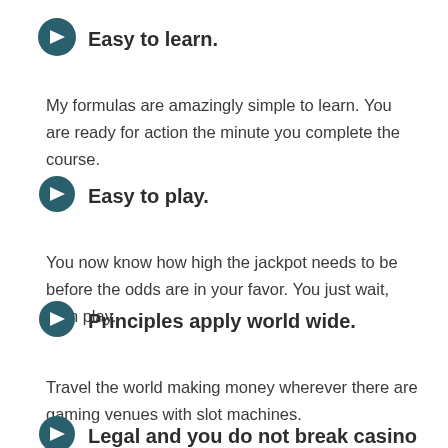Easy to learn.
My formulas are amazingly simple to learn. You are ready for action the minute you complete the course.
Easy to play.
You now know how high the jackpot needs to be before the odds are in your favor. You just wait, then play.
Principles apply world wide.
Travel the world making money wherever there are gaming venues with slot machines.
Legal and you do not break casino